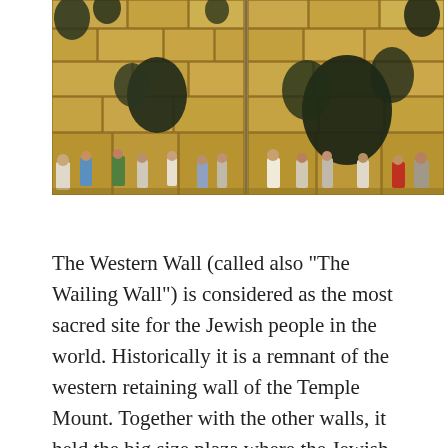[Figure (photo): Photograph of the Western Wall (Wailing Wall) in Jerusalem showing large ancient stone blocks with dark bushes/plants growing between them. People are standing at the base of the wall praying. The image appears to be a composite or panoramic view split into two panels.]
The Western Wall (called also "The Wailing Wall") is considered as the most sacred site for the Jewish people in the world. Historically it is a remnant of the western retaining wall of the Temple Mount. Together with the other walls, it held the big size plaza where the Jewish Temple once stood. Being 2000 years old and relating to the Jewish Temple, the Western Wall is visited by thousands on daily basis.